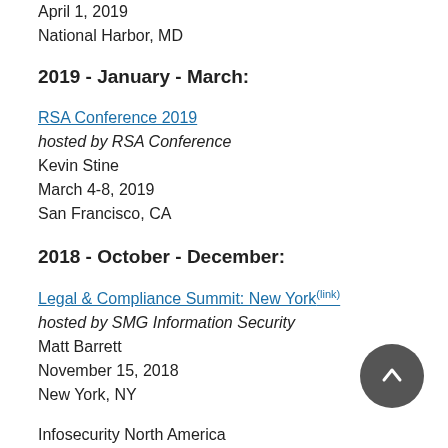April 1, 2019
National Harbor, MD
2019 - January - March:
RSA Conference 2019
hosted by RSA Conference
Kevin Stine
March 4-8, 2019
San Francisco, CA
2018 - October - December:
Legal & Compliance Summit: New York
hosted by SMG Information Security
Matt Barrett
November 15, 2018
New York, NY
Infosecurity North America
hosted by Reed Exhibitions